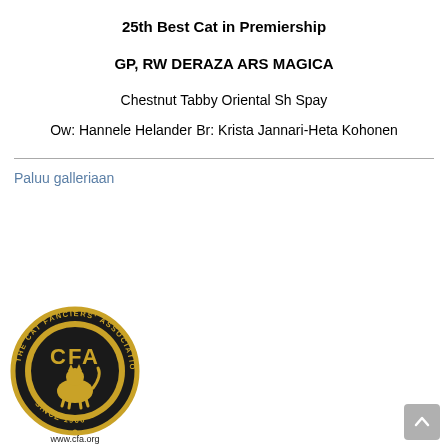25th Best Cat in Premiership
GP, RW DERAZA ARS MAGICA
Chestnut Tabby Oriental Sh Spay
Ow: Hannele Helander
Br: Krista Jannari-Heta Kohonen
Paluu galleriaan
[Figure (logo): Cat Fanciers' Association circular logo with black and gold coloring, featuring cats silhouette, text 'THE CAT FANCIERS ASSOCIATION', 'SINCE 1906', and 'www.cfa.org']